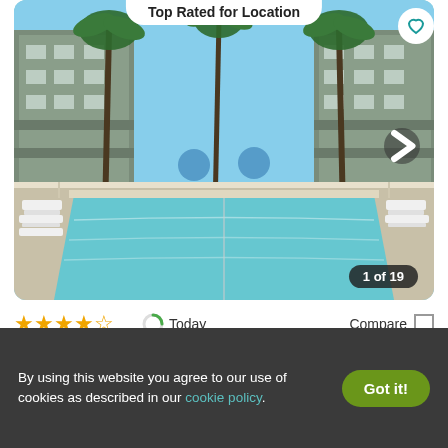Top Rated for Location
[Figure (photo): Outdoor swimming pool at Gables Wilton Park, with palm trees and apartment buildings on either side, lounge chairs along the pool deck, tropical setting.]
1 of 19
★★★★☆  Today  Compare
Gables Wilton Park
513 NE 21St Court #120, Fort Lauderdale, FL 33305
✓ 24 Units available    ✓ Verified
By using this website you agree to our use of cookies as described in our cookie policy.